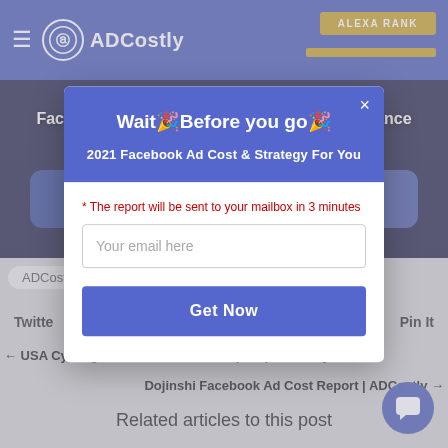ADCostly — ALEXA RANK
[Figure (screenshot): Hero banner image for Facebook, Instagram Cost Of Marketing Guidance 2020 Q2 with dark overlay and social media app icons]
Wait🎉Before you go🎉
2021 Facebook Ad Cost & Strategy For You
* The report will be sent to your mailbox in 3 minutes
Your email here
Get Now
Twitte
Pin It
← USA Cycling Facebook Ad Cost Report | ADCostly
Dojinshi Facebook Ad Cost Report | ADCostly →
Related articles to this post